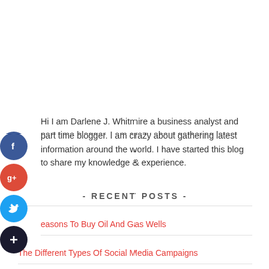Hi I am Darlene J. Whitmire a business analyst and part time blogger. I am crazy about gathering latest information around the world. I have started this blog to share my knowledge & experience.
- RECENT POSTS -
easons To Buy Oil And Gas Wells
The Different Types Of Social Media Campaigns